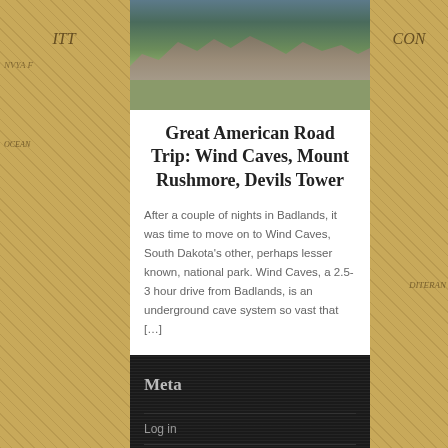[Figure (photo): Landscape photo showing rocky outcroppings with pine trees and grassland, likely in the Black Hills / South Dakota area.]
Great American Road Trip: Wind Caves, Mount Rushmore, Devils Tower
After a couple of nights in Badlands, it was time to move on to Wind Caves, South Dakota's other, perhaps lesser known, national park. Wind Caves, a 2.5-3 hour drive from Badlands, is an underground cave system so vast that […]
Meta
Log in
Entries RSS
Comments RSS